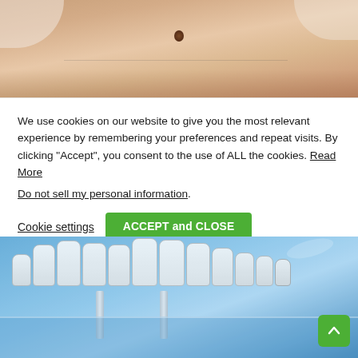[Figure (photo): Close-up photo of a person's bare belly/abdomen with a visible mole, against a light background]
We use cookies on our website to give you the most relevant experience by remembering your preferences and repeat visits. By clicking “Accept”, you consent to the use of ALL the cookies. Read More
Do not sell my personal information.
Cookie settings    ACCEPT and CLOSE
[Figure (photo): 3D model of dental implants showing white teeth crowns on blue translucent jaw model with visible implant posts/screws]